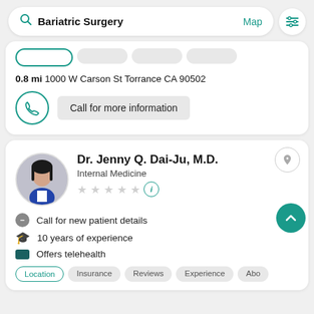[Figure (screenshot): Search bar with 'Bariatric Surgery' query, Map link, and filter button]
0.8 mi 1000 W Carson St Torrance CA 90502
Call for more information
Dr. Jenny Q. Dai-Ju, M.D.
Internal Medicine
Call for new patient details
10 years of experience
Offers telehealth
Location Insurance Reviews Experience Abo